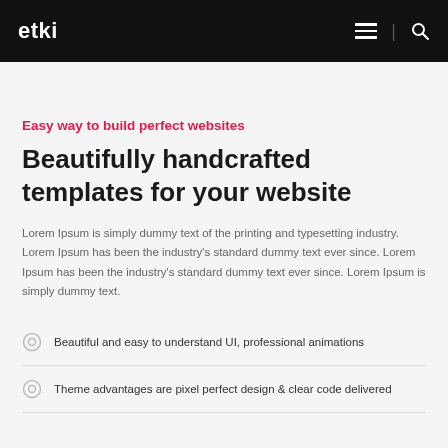etki
Easy way to build perfect websites
Beautifully handcrafted templates for your website
Lorem Ipsum is simply dummy text of the printing and typesetting industry. Lorem Ipsum has been the industry's standard dummy text ever since. Lorem Ipsum has been the industry's standard dummy text ever since. Lorem Ipsum is simply dummy text.
Beautiful and easy to understand UI, professional animations
Theme advantages are pixel perfect design & clear code delivered